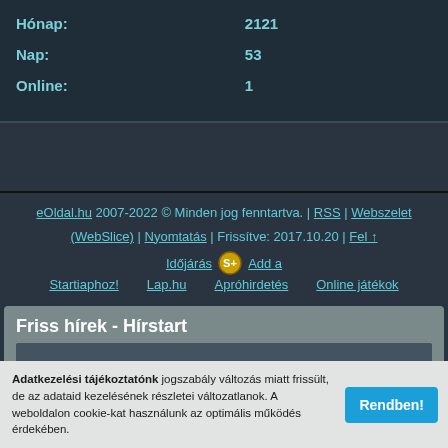| Label | Value |
| --- | --- |
| Hónap: | 2121 |
| Nap: | 53 |
| Online: | 1 |
eOldal.hu 2007-2022 © Minden jog fenntartva. | RSS | Webszelet (WebSlice) | Nyomtatás | Frissítve: 2017.10.20 | Fel ↑
Időjárás [icon] Add a Startiaphoz! Lap.hu Apróhirdetés Online játékok
Friss hírek - Hírstart
Adatkezelési tájékoztatónk jogszabály változás miatt frissült, de az adataid kezelésének részletei változatlanok. A weboldalon cookie-kat használunk az optimális működés érdekében.
Rendben!